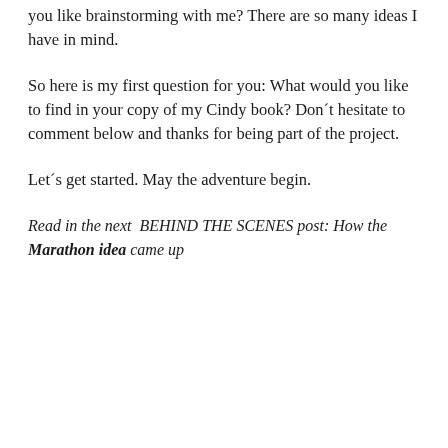you like brainstorming with me? There are so many ideas I have in mind.
So here is my first question for you: What would you like to find in your copy of my Cindy book? Don´t hesitate to comment below and thanks for being part of the project.
Let´s get started. May the adventure begin.
Read in the next  BEHIND THE SCENES post: How the Marathon idea came up